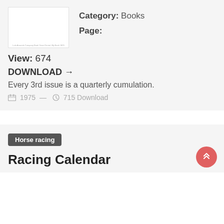[Figure (illustration): Thumbnail of a book cover with small gray text]
Category: Books
Page:
View: 674
DOWNLOAD →
Every 3rd issue is a quarterly cumulation.
1975  —  715 Download
Horse racing
Racing Calendar